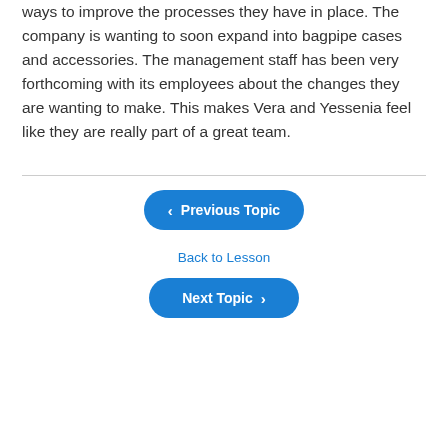ways to improve the processes they have in place. The company is wanting to soon expand into bagpipe cases and accessories. The management staff has been very forthcoming with its employees about the changes they are wanting to make. This makes Vera and Yessenia feel like they are really part of a great team.
[Figure (screenshot): Previous Topic navigation button (blue rounded rectangle with left arrow)]
Back to Lesson
[Figure (screenshot): Next Topic navigation button (blue rounded rectangle with right arrow)]